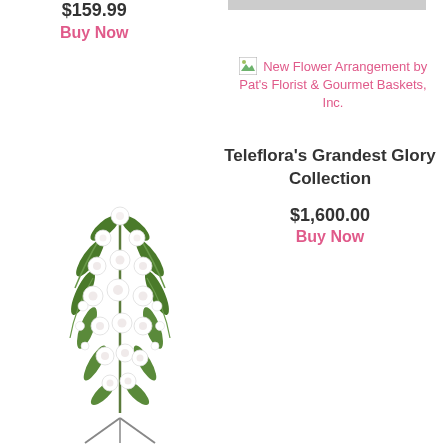$159.99
Buy Now
[Figure (photo): Broken/missing image placeholder for New Flower Arrangement by Pat's Florist & Gourmet Baskets, Inc.]
New Flower Arrangement by Pat's Florist & Gourmet Baskets, Inc.
Teleflora's Grandest Glory Collection
$1,600.00
Buy Now
[Figure (photo): White flower funeral spray arrangement on a stand, with white orchids, roses, lilies, and greenery]